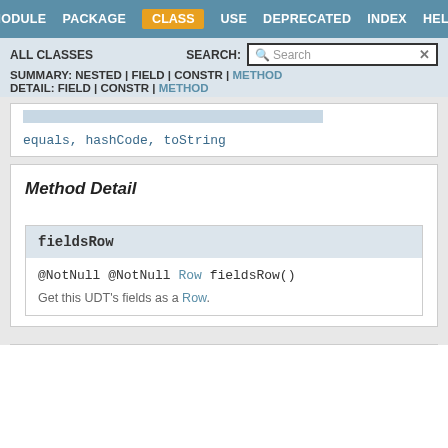MODULE  PACKAGE  CLASS  USE  DEPRECATED  INDEX  HELP
ALL CLASSES  SEARCH:  [Search]
SUMMARY: NESTED | FIELD | CONSTR | METHOD  DETAIL: FIELD | CONSTR | METHOD
equals, hashCode, toString
Method Detail
fieldsRow
@NotNull @NotNull Row fieldsRow()
Get this UDT's fields as a Row.